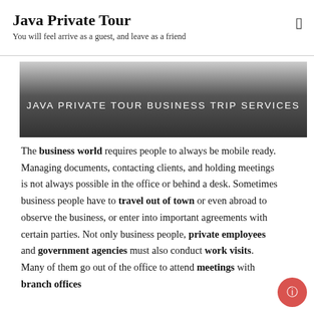Java Private Tour
You will feel arrive as a guest, and leave as a friend
[Figure (other): Banner image with gradient from light gray to dark gray, containing text: JAVA PRIVATE TOUR BUSINESS TRIP SERVICES]
The business world requires people to always be mobile ready. Managing documents, contacting clients, and holding meetings is not always possible in the office or behind a desk. Sometimes business people have to travel out of town or even abroad to observe the business, or enter into important agreements with certain parties. Not only business people, private employees and government agencies must also conduct work visits. Many of them go out of the office to attend meetings with branch offices